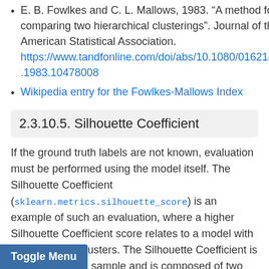E. B. Fowlkes and C. L. Mallows, 1983. "A method for comparing two hierarchical clusterings". Journal of the American Statistical Association. https://www.tandfonline.com/doi/abs/10.1080/01621459.1983.10478008
Wikipedia entry for the Fowlkes-Mallows Index
2.3.10.5. Silhouette Coefficient
If the ground truth labels are not known, evaluation must be performed using the model itself. The Silhouette Coefficient (sklearn.metrics.silhouette_score) is an example of such an evaluation, where a higher Silhouette Coefficient score relates to a model with better defined clusters. The Silhouette Coefficient is defined for each sample and is composed of two scores:
a: The mean distance between a sample and all other points in the same class.
mean distance between a sample and all other